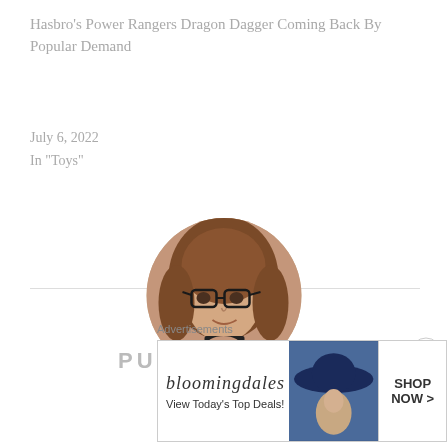Hasbro's Power Rangers Dragon Dagger Coming Back By Popular Demand
July 6, 2022
In "Toys"
[Figure (photo): Circular profile photo of a young woman with glasses and long brown hair, wearing a choker necklace, resting her chin on her hand]
PUBLISHED BY
[Figure (other): Bloomingdale's advertisement: 'View Today's Top Deals!' with SHOP NOW > button and decorative image of a woman in a hat]